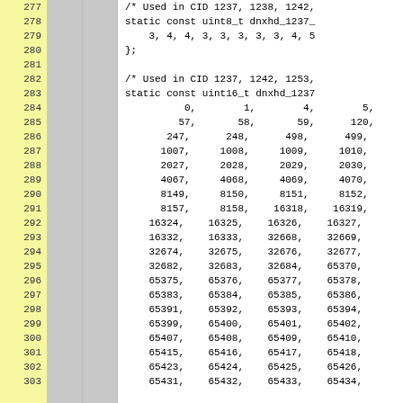Source code listing lines 277-302 showing C static array declarations for DNxHD codec tables with uint8_t and uint16_t types.